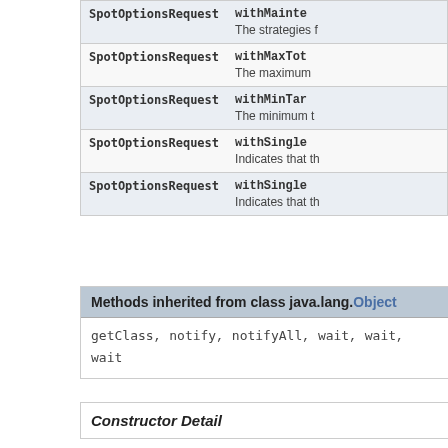| Return type | Method |
| --- | --- |
| SpotOptionsRequest | withMainte...
The strategies f |
| SpotOptionsRequest | withMaxTot...
The maximum |
| SpotOptionsRequest | withMinTar...
The minimum t |
| SpotOptionsRequest | withSingle...
Indicates that th |
| SpotOptionsRequest | withSingle...
Indicates that th |
Methods inherited from class java.lang.Object
getClass, notify, notifyAll, wait, wait, wait
Constructor Detail